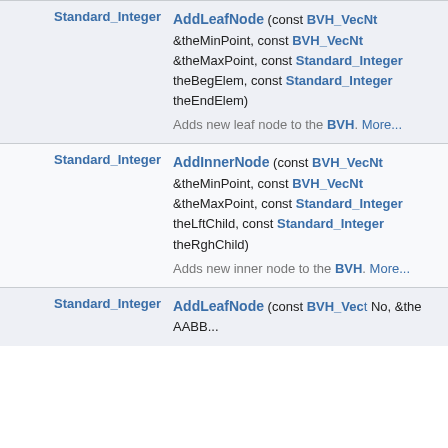| Return type | Method signature |
| --- | --- |
| Standard_Integer | AddLeafNode (const BVH_VecNt &theMinPoint, const BVH_VecNt &theMaxPoint, const Standard_Integer theBegElem, const Standard_Integer theEndElem)
Adds new leaf node to the BVH. More... |
| Standard_Integer | AddInnerNode (const BVH_VecNt &theMinPoint, const BVH_VecNt &theMaxPoint, const Standard_Integer theLftChild, const Standard_Integer theRghChild)
Adds new inner node to the BVH. More... |
| Standard_Integer | AddLeafNode (const BVH_... |